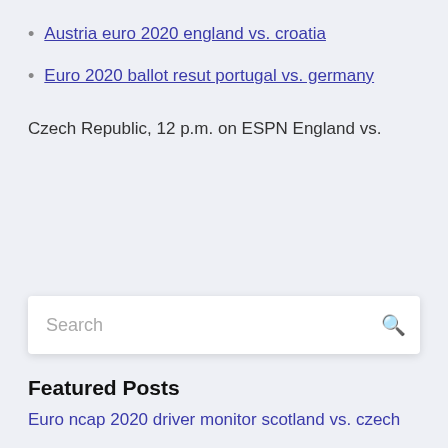Austria euro 2020 england vs. croatia
Euro 2020 ballot resut portugal vs. germany
Czech Republic, 12 p.m. on ESPN England vs.
Featured Posts
Euro ncap 2020 driver monitor scotland vs. czech